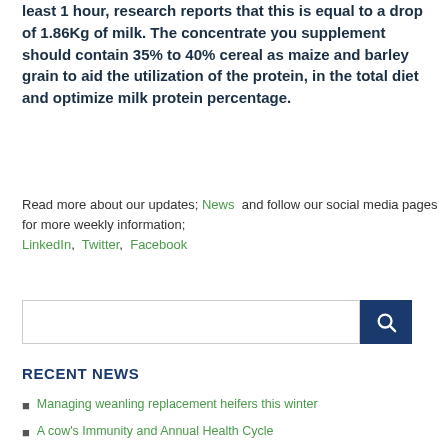least 1 hour, research reports that this is equal to a drop of 1.86Kg of milk. The concentrate you supplement should contain 35% to 40% cereal as maize and barley grain to aid the utilization of the protein, in the total diet and optimize milk protein percentage.
Read more about our updates; News and follow our social media pages for more weekly information; LinkedIn, Twitter, Facebook
RECENT NEWS
Managing weanling replacement heifers this winter
A cow's Immunity and Annual Health Cycle
Outsourcing Contract Manufacturing Services?
Pre-Housing Keep in control of your farm